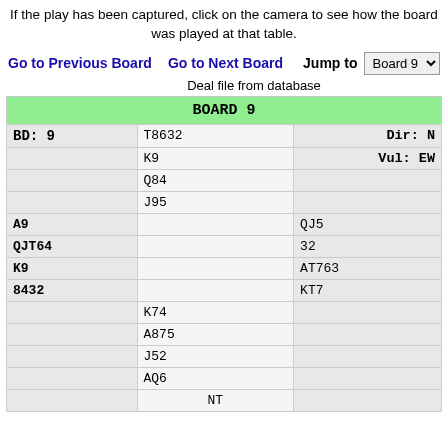If the play has been captured, click on the camera to see how the board was played at that table.
Go to Previous Board   Go to Next Board   Jump to  Board 9
Deal file from database
| BOARD 9 |  |  |
| --- | --- | --- |
| BD: 9 | T8632 | Dir: N |
|  | K9 | Vul: EW |
|  | Q84 |  |
|  | J95 |  |
| A9 |  | QJ5 |
| QJT64 |  | 32 |
| K9 |  | AT763 |
| 8432 |  | KT7 |
|  | K74 |  |
|  | A875 |  |
|  | J52 |  |
|  | AQ6 |  |
|  | NT |  |